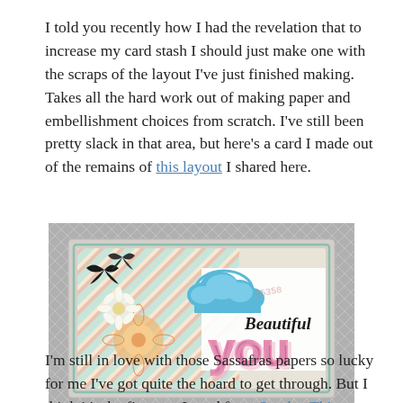I told you recently how I had the revelation that to increase my card stash I should just make one with the scraps of the layout I've just finished making. Takes all the hard work out of making paper and embellishment choices from scratch. I've still been pretty slack in that area, but here's a card I made out of the remains of this layout I shared here.
[Figure (photo): Photo of a handmade card with 'Beautiful you' text, butterflies, flowers, and a cloud embellishment on pastel striped paper, with blog watermark onescrappydoclem.blogspot.com]
I'm still in love with those Sassafras papers so lucky for me I've got quite the hoard to get through. But I think it's the first one I used from Sunday This layout...